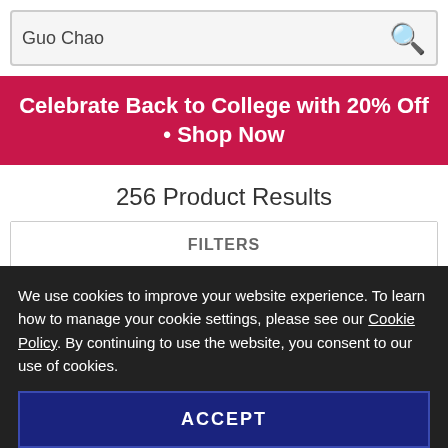Guo Chao
Celebrate Back to College with 20% Off • Shop Now
256 Product Results
| FILTERS |
| --- |
| KEYWORDS |
| PUB DATE |
We use cookies to improve your website experience. To learn how to manage your cookie settings, please see our Cookie Policy. By continuing to use the website, you consent to our use of cookies.
ACCEPT